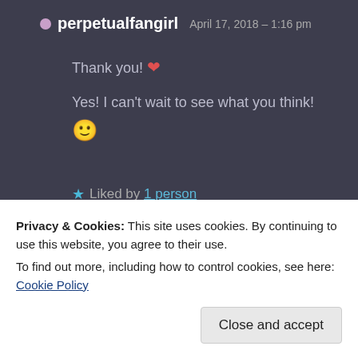perpetualfangirl April 17, 2018 – 1:16 pm
Thank you! ❤
Yes! I can't wait to see what you think! 🙂
★ Liked by 1 person
REPLY
Privacy & Cookies: This site uses cookies. By continuing to use this website, you agree to their use. To find out more, including how to control cookies, see here: Cookie Policy